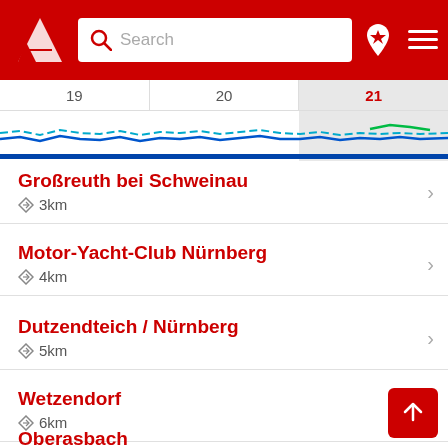[Figure (screenshot): App header with red background, logo, search bar, and icons]
[Figure (continuous-plot): Wind/weather timeline strip showing days 19, 20, 21 with colored waveform lines (blue, cyan, green)]
Großreuth bei Schweinau
◇ 3km
Motor-Yacht-Club Nürnberg
◇ 4km
Dutzendteich / Nürnberg
◇ 5km
Wetzendorf
◇ 6km
Oberasbach